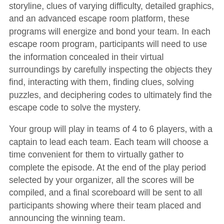storyline, clues of varying difficulty, detailed graphics, and an advanced escape room platform, these programs will energize and bond your team. In each escape room program, participants will need to use the information concealed in their virtual surroundings by carefully inspecting the objects they find, interacting with them, finding clues, solving puzzles, and deciphering codes to ultimately find the escape code to solve the mystery.
Your group will play in teams of 4 to 6 players, with a captain to lead each team. Each team will choose a time convenient for them to virtually gather to complete the episode. At the end of the play period selected by your organizer, all the scores will be compiled, and a final scoreboard will be sent to all participants showing where their team placed and announcing the winning team.
This delivery method allows you the flexibility to provide an activity for small to very large groups in multiple locations...